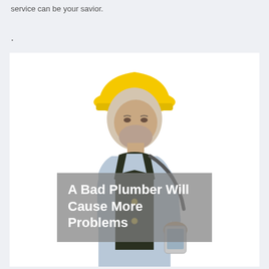service can be your savior.
.
[Figure (photo): An older man wearing a yellow hard hat and dark vest, looking down at a mobile phone/device in his hands. He appears to be a plumber or contractor. The image has a white background.]
A Bad Plumber Will Cause More Problems